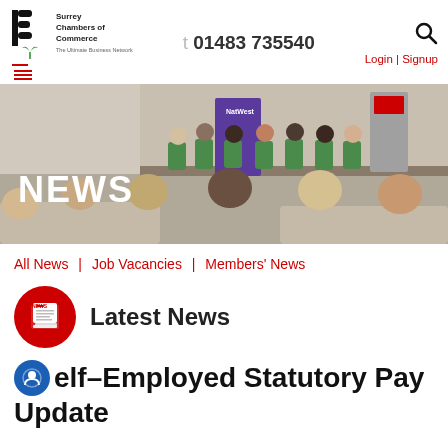Surrey Chambers of Commerce | t 01483 735540 | Login | Signup
[Figure (photo): Panel event photo with speakers seated on stage and audience in foreground, with NatWest banner visible, overlaid with NEWS text]
All News | Job Vacancies | Members' News
Latest News
Self-Employed Statutory Pay Update